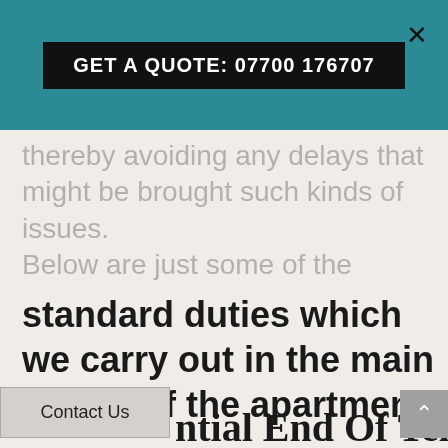GET A QUOTE: 07700 176707
thereby avoiding any delays that might be brought such kinds of issues.
Below are just some of the
standard duties which we carry out in the main rooms of the apartment:
ntial End Of Tenancy
Contact Us